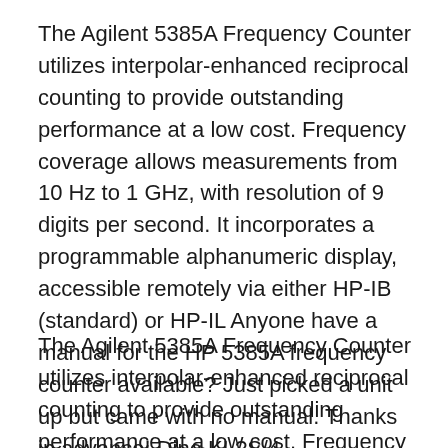The Agilent 5385A Frequency Counter utilizes interpolar-enhanced reciprocal counting to provide outstanding performance at a low cost. Frequency coverage allows measurements from 10 Hz to 1 GHz, with resolution of 9 digits per second. It incorporates a programmable alphanumeric display, accessible remotely via either HP-IB (standard) or HP-IL Anyone have a manual for the HP 5385A frequency counter available? Just picked a unit up but came with no manual. Thanks in advance! Dino KL?S/4
The Agilent 5385A Frequency Counter utilizes interpolar-enhanced reciprocal counting to provide outstanding performance at a low cost. Frequency coverage allows measurements from